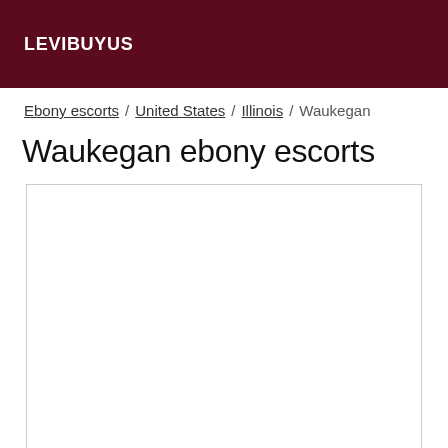LEVIBUYUS
Ebony escorts / United States / Illinois / Waukegan
Waukegan ebony escorts
[Figure (other): Empty white content box with border]